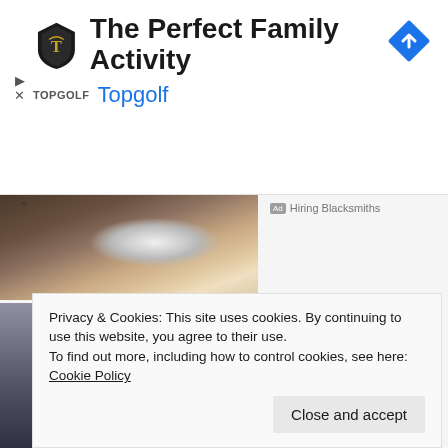[Figure (screenshot): Topgolf advertisement banner with logo and title 'The Perfect Family Activity', brand name 'Topgolf' in blue, navigation arrow icon top right, and play/close icons on left]
[Figure (photo): Photo of a hand holding a large diamond halo engagement ring]
[Figure (photo): Photo of an elderly man sitting in a car looking out the window]
Hiring Blacksmiths
Jobs $30/hr Hiring Seniors
Ad  DAN Part Time Jobs
Privacy & Cookies: This site uses cookies. By continuing to use this website, you agree to their use.
To find out more, including how to control cookies, see here: Cookie Policy
Close and accept